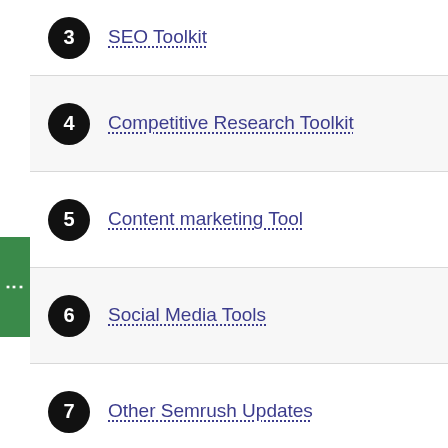3 SEO Toolkit
4 Competitive Research Toolkit
5 Content marketing Tool
6 Social Media Tools
7 Other Semrush Updates
8 Final Thought On Semrush Key Updates
9 Frequently Asked Question About